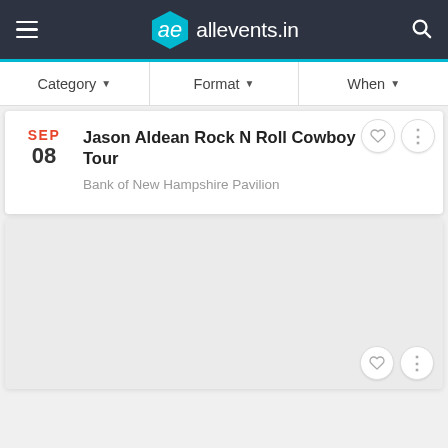allevents.in
Category ▼   Format ▼   When ▼
Jason Aldean Rock N Roll Cowboy Tour
SEP 08
Bank of New Hampshire Pavilion
[Figure (other): Empty placeholder card with heart and more-options icons]